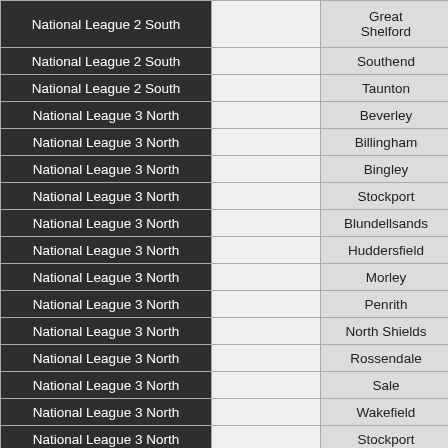| National League 2 South |  | Great Shelford |
| National League 2 South |  | Southend |
| National League 2 South |  | Taunton |
| National League 3 North |  | Beverley |
| National League 3 North |  | Billingham |
| National League 3 North |  | Bingley |
| National League 3 North |  | Stockport |
| National League 3 North |  | Blundellsands |
| National League 3 North |  | Huddersfield |
| National League 3 North |  | Morley |
| National League 3 North |  | Penrith |
| National League 3 North |  | North Shields |
| National League 3 North |  | Rossendale |
| National League 3 North |  | Sale |
| National League 3 North |  | Wakefield |
| National League 3 North |  | Stockport |
| National League 3 North |  | South Shields |
| National League 3 Midlands |  | Bedford |